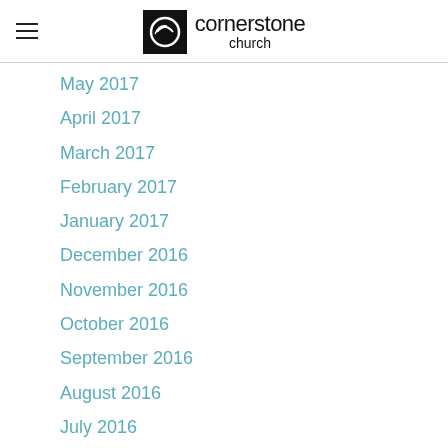cornerstone church
May 2017
April 2017
March 2017
February 2017
January 2017
December 2016
November 2016
October 2016
September 2016
August 2016
July 2016
June 2016
May 2016
April 2016
March 2016
February 2016
January 2016